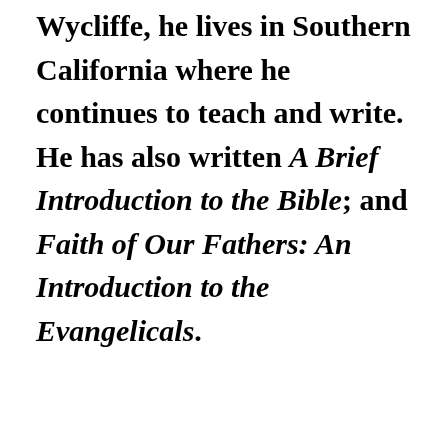Wycliffe, he lives in Southern California where he continues to teach and write. He has also written A Brief Introduction to the Bible; and Faith of Our Fathers: An Introduction to the Evangelicals.